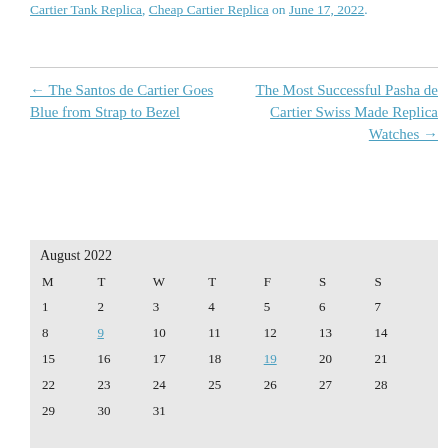Cartier Tank Replica, Cheap Cartier Replica on June 17, 2022.
← The Santos de Cartier Goes Blue from Strap to Bezel | The Most Successful Pasha de Cartier Swiss Made Replica Watches →
| M | T | W | T | F | S | S |
| --- | --- | --- | --- | --- | --- | --- |
| 1 | 2 | 3 | 4 | 5 | 6 | 7 |
| 8 | 9 | 10 | 11 | 12 | 13 | 14 |
| 15 | 16 | 17 | 18 | 19 | 20 | 21 |
| 22 | 23 | 24 | 25 | 26 | 27 | 28 |
| 29 | 30 | 31 |  |  |  |  |